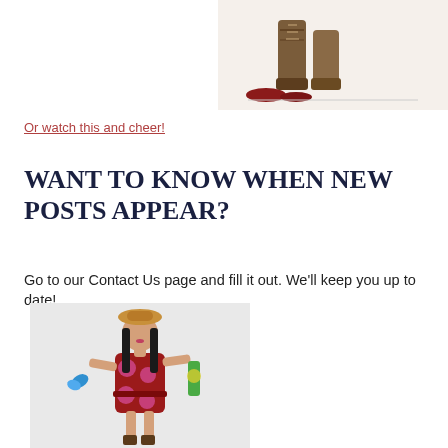[Figure (illustration): Illustration of boots and shoes at top right of page]
Or watch this and cheer!
WANT TO KNOW WHEN NEW POSTS APPEAR?
Go to our Contact Us page and fill it out. We'll keep you up to date!
[Figure (illustration): Child's drawing of a girl in a red dress with black hair, wearing a hat, holding a blue butterfly on one hand and a green item on the other hand]